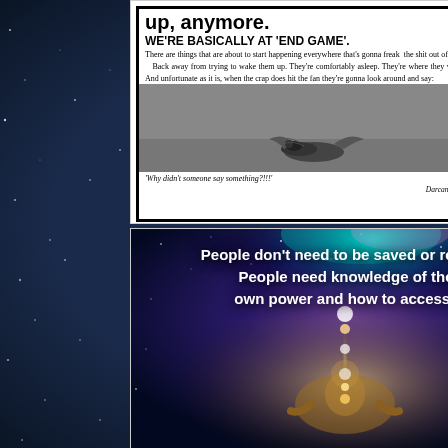[Figure (screenshot): Language selector showing UK flag and 'English' with dropdown chevron]
[Figure (photo): Newspaper-style social media post with text 'up, anymore. WE'RE BASICALLY AT END GAME.' followed by body text about people being asleep, with photo of dead bird on pavement, caption 'Why didn't someone say something?!!' attributed to Darcan O' Finiaan]
[Figure (photo): Cosmic meditation image showing a person in lotus pose with energy/light emanating upward against a starry galaxy background, with white bold text reading: People don't need to be saved or rescued. People need knowledge of their own power and how to access it.]